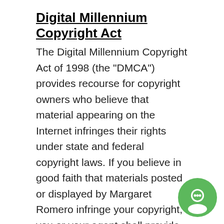Digital Millennium Copyright Act
The Digital Millennium Copyright Act of 1998 (the "DMCA") provides recourse for copyright owners who believe that material appearing on the Internet infringes their rights under state and federal copyright laws. If you believe in good faith that materials posted or displayed by Margaret Romero infringe your copyright, you or your agent shall provide written notice of same to Margaret Romero supporting your contention that the materials are protected and requesting that same be removed or access be blocked.  Any notification by a copyright owner or a